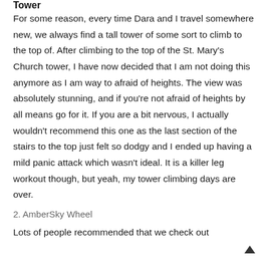Tower
For some reason, every time Dara and I travel somewhere new, we always find a tall tower of some sort to climb to the top of. After climbing to the top of the St. Mary's Church tower, I have now decided that I am not doing this anymore as I am way to afraid of heights. The view was absolutely stunning, and if you're not afraid of heights by all means go for it. If you are a bit nervous, I actually wouldn't recommend this one as the last section of the stairs to the top just felt so dodgy and I ended up having a mild panic attack which wasn't ideal. It is a killer leg workout though, but yeah, my tower climbing days are over.
2. AmberSky Wheel
Lots of people recommended that we check out